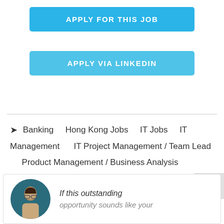APPLY FOR THIS JOB
APPLY VIA LINKEDIN
Banking   Hong Kong Jobs   IT Jobs   IT Management   IT Project Management / Team Lead   Product Management / Business Analysis
If this outstanding opportunity sounds like your